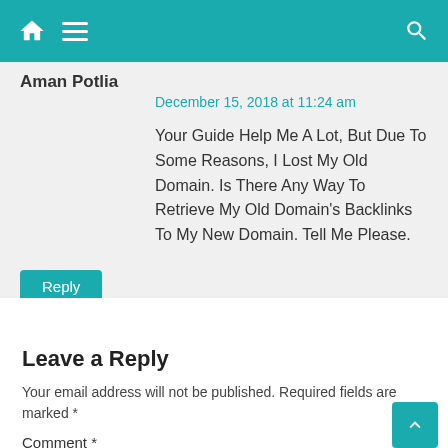Navigation bar with home, menu, and search icons
Aman Potlia
December 15, 2018 at 11:24 am
Your Guide Help Me A Lot, But Due To Some Reasons, I Lost My Old Domain. Is There Any Way To Retrieve My Old Domain's Backlinks To My New Domain. Tell Me Please.
Reply
Leave a Reply
Your email address will not be published. Required fields are marked *
Comment *